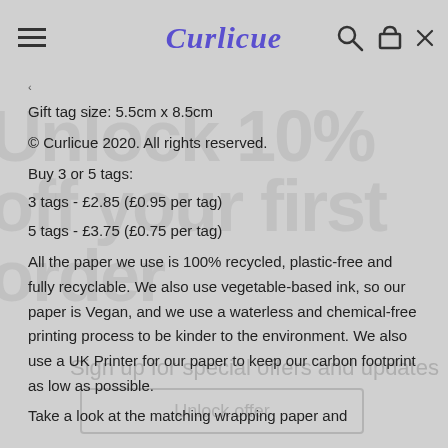Curlicue
Gift tag size: 5.5cm x 8.5cm
© Curlicue 2020. All rights reserved.
Buy 3 or 5 tags:
3 tags - £2.85 (£0.95 per tag)
5 tags - £3.75 (£0.75 per tag)
All the paper we use is 100% recycled, plastic-free and fully recyclable. We also use vegetable-based ink, so our paper is Vegan, and we use a waterless and chemical-free printing process to be kinder to the environment. We also use a UK Printer for our paper to keep our carbon footprint as low as possible.
Take a look at the matching wrapping paper and